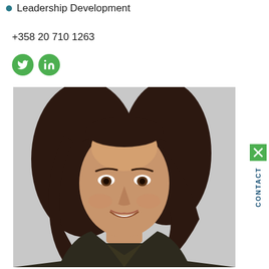Leadership Development
+358 20 710 1263
[Figure (photo): Professional headshot of a woman with dark hair, smiling, wearing a dark top, light grey background]
CONTACT